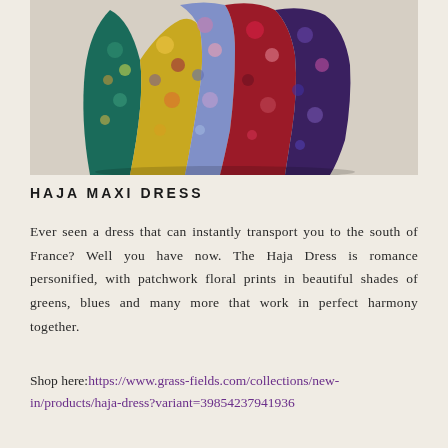[Figure (photo): A colorful patchwork floral maxi dress displayed on a light beige/cream background. The dress features multiple panels of different floral prints in jewel tones: teal/green, golden yellow, red, lavender/light blue, and deep burgundy. The dress is shown from roughly the waist down, spread out on the floor.]
HAJA MAXI DRESS
Ever seen a dress that can instantly transport you to the south of France? Well you have now. The Haja Dress is romance personified, with patchwork floral prints in beautiful shades of greens, blues and many more that work in perfect harmony together.
Shop here:https://www.grass-fields.com/collections/new-in/products/haja-dress?variant=39854237941936